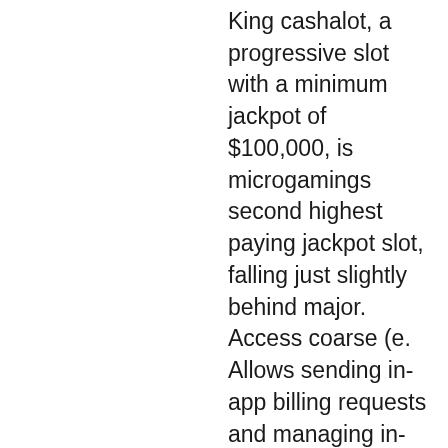King cashalot, a progressive slot with a minimum jackpot of $100,000, is microgamings second highest paying jackpot slot, falling just slightly behind major. Access coarse (e. Allows sending in-app billing requests and managing in-app billing. — обзор слота king cashalot в этом обзоре вы встретите слот от казино эльдорадо, который заставит вас вернуться к нему. — king cashalot – игровой слот от компании microgaming, который покажет нам веселую жизнь королей. King cashalot slots is a popular slot game. If you are thinking about playing, read our review first. Here you can see the rtp, bonuses. The 5-reel, 9-payline king cashalot slot game brings medieval times to life, but does so with slightly cartoonish graphics and wordplay to give things a. 15 july 2018 by slotscasinotest. King cashalot is full of riches as he offers huge jackpot when